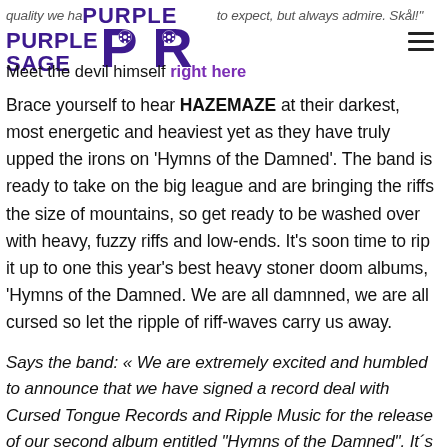quality we have come to expect, but always admire. Skål!
[Figure (logo): Purple Sage PR logo with stylized PR letters in dark purple and soccer ball dots]
Meet the devil himself right here
Brace yourself to hear HAZEMAZE at their darkest, most energetic and heaviest yet as they have truly upped the irons on 'Hymns of the Damned'. The band is ready to take on the big league and are bringing the riffs the size of mountains, so get ready to be washed over with heavy, fuzzy riffs and low-ends. It's soon time to rip it up to one this year's best heavy stoner doom albums, 'Hymns of the Damned. We are all damnned, we are all cursed so let the ripple of riff-waves carry us away.
Says the band: « We are extremely excited and humbled to announce that we have signed a record deal with Cursed Tongue Records and Ripple Music for the release of our second album entitled "Hymns of the Damned". It´s an